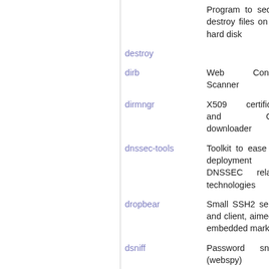| Package | Description |
| --- | --- |
| destroy | Program to secure destroy files on the hard disk |
| dirb | Web Content Scanner |
| dirmngr | X509 certificate and CRL downloader |
| dnssec-tools | Toolkit to ease the deployment of DNSSEC related technologies |
| dropbear | Small SSH2 server and client, aimed at embedded market |
| dsniff | Password sniffer (webspy) |
| dsniff-nox11 | Password sniffer |
| egd | EGD: Entropy Gathering Daemon |
| engine-pkcs11 | PKCS#11 engine for OpenSSL |
| ettercap (V) | Multipurpose sniffer/interceptor/logger |